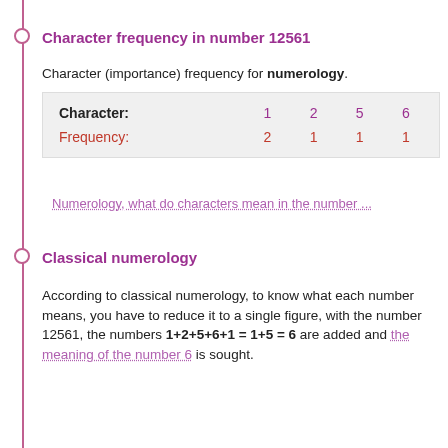Character frequency in number 12561
Character (importance) frequency for numerology.
| Character: | 1 | 2 | 5 | 6 |
| --- | --- | --- | --- | --- |
| Frequency: | 2 | 1 | 1 | 1 |
Numerology, what do characters mean in the number ...
Classical numerology
According to classical numerology, to know what each number means, you have to reduce it to a single figure, with the number 12561, the numbers 1+2+5+6+1 = 1+5 = 6 are added and the meaning of the number 6 is sought.